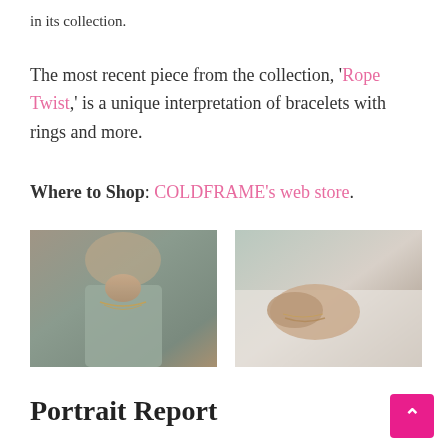in its collection.
The most recent piece from the collection, 'Rope Twist,' is a unique interpretation of bracelets with rings and more.
Where to Shop: COLDFRAME's web store.
[Figure (photo): Close-up of a woman wearing a delicate gold necklace over a sage green blouse]
[Figure (photo): Close-up of a hand resting on white fabric with a bracelet on the wrist]
Portrait Report